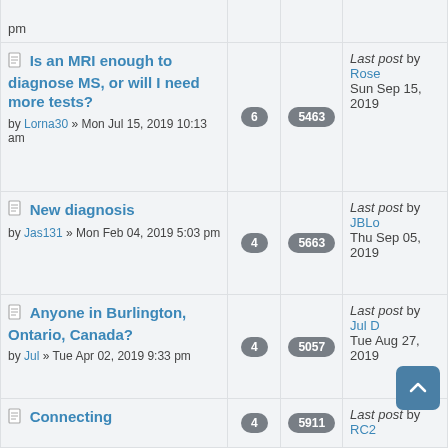| Topic | Replies | Views | Last post |
| --- | --- | --- | --- |
| pm |  |  |  |
| Is an MRI enough to diagnose MS, or will I need more tests? by Lorna30 » Mon Jul 15, 2019 10:13 am | 6 | 5463 | Last post by Rose Sun Sep 15, 2019 |
| New diagnosis by Jas131 » Mon Feb 04, 2019 5:03 pm | 4 | 5663 | Last post by JBLo Thu Sep 05, 2019 |
| Anyone in Burlington, Ontario, Canada? by Jul » Tue Apr 02, 2019 9:33 pm | 4 | 5057 | Last post by Jul D Tue Aug 27, 2019 |
| Connecting | 4 | 5911 | Last post by RC2 |